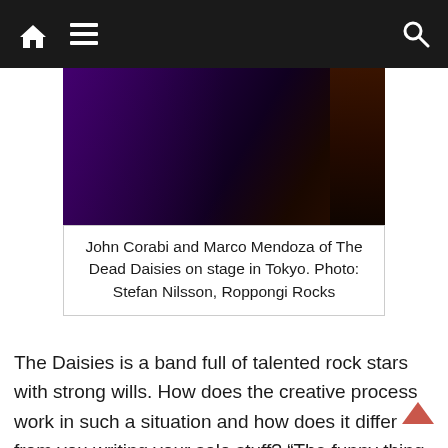Navigation bar with home, menu, and search icons
[Figure (photo): Concert photo of John Corabi and Marco Mendoza of The Dead Daisies performing on stage in Tokyo, dark purple and red lighting, guitar visible at right]
John Corabi and Marco Mendoza of The Dead Daisies on stage in Tokyo. Photo: Stefan Nilsson, Roppongi Rocks
The Daisies is a band full of talented rock stars with strong wills. How does the creative process work in such a situation and how does it differ from you writing your solo stuff? “The funny thing about it is… I’ve got solo record to do. So, if I want to wank off for eight minutes – y’know what I mean? – I